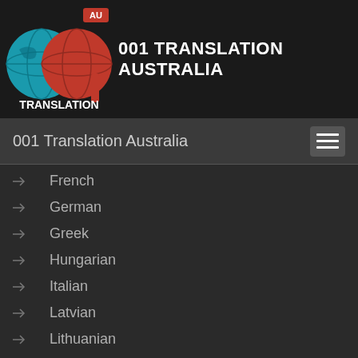[Figure (logo): 001 Translation Australia logo with globe icons and red/teal colors]
001 TRANSLATION AUSTRALIA
001 Translation Australia
French
German
Greek
Hungarian
Italian
Latvian
Lithuanian
Maltese
Norwegian
Portuguese
Romanian
Spanish